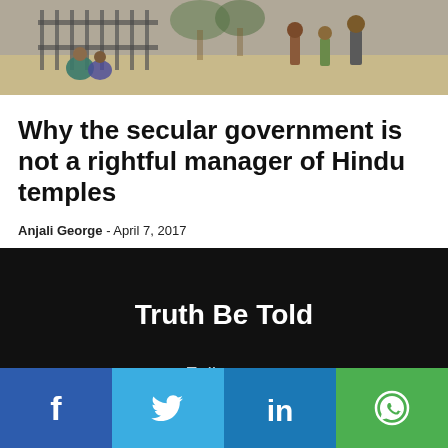[Figure (photo): Outdoor scene with people near a fence or gate, appears to be at a temple or public gathering]
Why the secular government is not a rightful manager of Hindu temples
Anjali George - April 7, 2017
Truth Be Told
Follow us